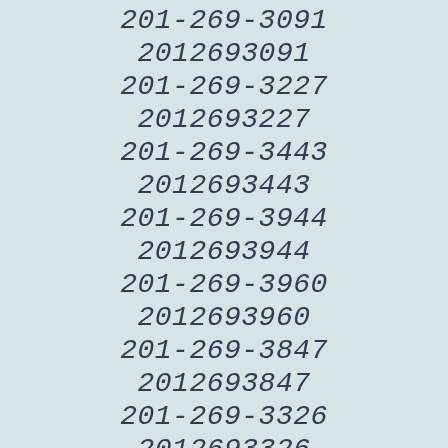201-269-3091
2012693091
201-269-3227
2012693227
201-269-3443
2012693443
201-269-3944
2012693944
201-269-3960
2012693960
201-269-3847
2012693847
201-269-3326
2012693326
201-269-3299
2012693299